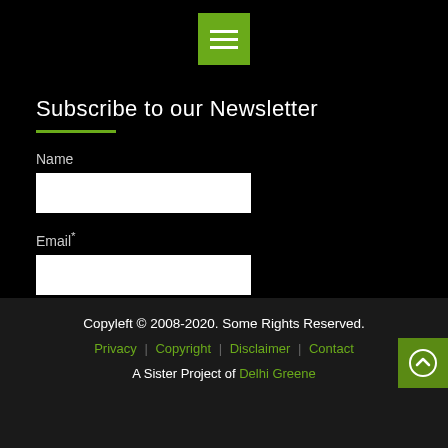[Figure (other): Green hamburger menu icon button on black background]
Subscribe to our Newsletter
Name
Email*
SUBMIT
Copyleft © 2008-2020. Some Rights Reserved.
Privacy | Copyright | Disclaimer | Contact
A Sister Project of Delhi Greene